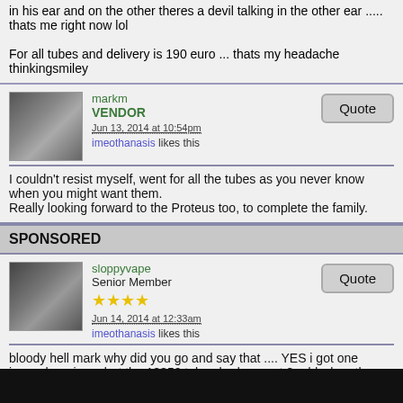in his ear and on the other theres a devil talking in the other ear ..... thats me right now lol

For all tubes and delivery is 190 euro ... thats my headache thinkingsmiley
markm VENDOR Jun 13, 2014 at 10:54pm imeothanasis likes this
I couldn't resist myself, went for all the tubes as you never know when you might want them.
Really looking forward to the Proteus too, to complete the family.
SPONSORED
sloppyvape Senior Member ★★★★ Jun 14, 2014 at 12:33am imeothanasis likes this
bloody hell mark why did you go and say that .... YES i got one icon_shoppingm,but the 18350 tubes had run out ? odd when theres more mods to sell .